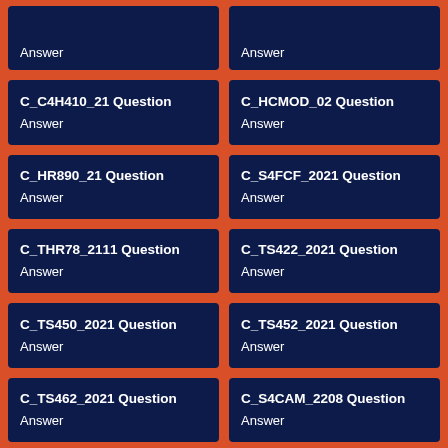Answer
Answer
C_C4H410_21 Question
Answer
C_HCMOD_02 Question
Answer
C_HR890_21 Question
Answer
C_S4FCF_2021 Question
Answer
C_THR78_2111 Question
Answer
C_TS422_2021 Question
Answer
C_TS450_2021 Question
Answer
C_TS452_2021 Question
Answer
C_TS462_2021 Question
Answer
C_S4CAM_2208 Question
Answer